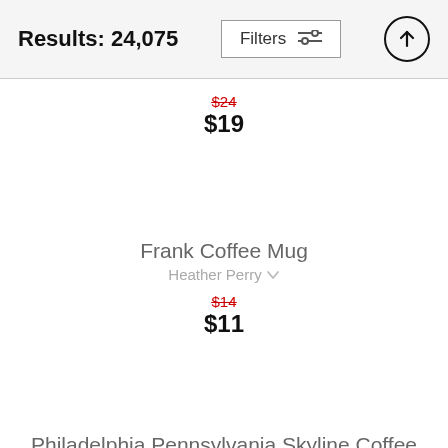Results: 24,075
$24 (strikethrough) $19
Frank Coffee Mug
Heather Perry
$14 (strikethrough) $11
Philadelphia Pennsylvania Skyline Coffee Mug
Bri Buckley